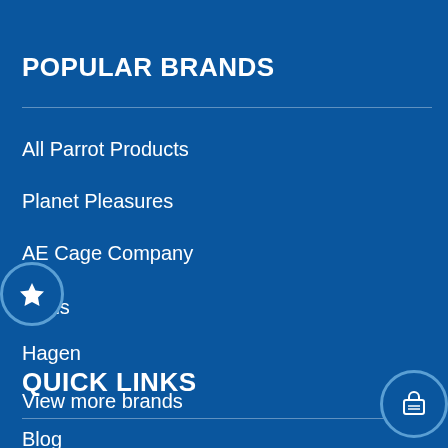POPULAR BRANDS
All Parrot Products
Planet Pleasures
AE Cage Company
Higgins
Hagen
View more brands
QUICK LINKS
Blog